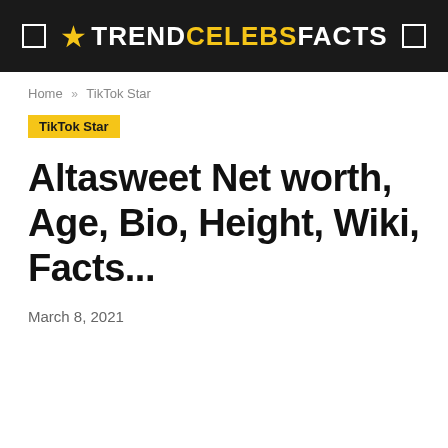TRENDCELEBSFACTS
Home » TikTok Star
TikTok Star
Altasweet Net worth, Age, Bio, Height, Wiki, Facts...
March 8, 2021